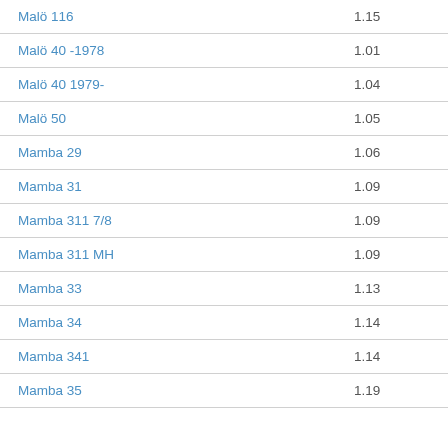| Name | Value |
| --- | --- |
| Malö 116 | 1.15 |
| Malö 40 -1978 | 1.01 |
| Malö 40 1979- | 1.04 |
| Malö 50 | 1.05 |
| Mamba 29 | 1.06 |
| Mamba 31 | 1.09 |
| Mamba 311 7/8 | 1.09 |
| Mamba 311 MH | 1.09 |
| Mamba 33 | 1.13 |
| Mamba 34 | 1.14 |
| Mamba 341 | 1.14 |
| Mamba 35 | 1.19 |